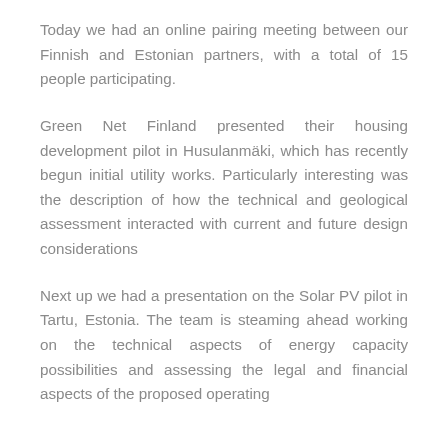Today we had an online pairing meeting between our Finnish and Estonian partners, with a total of 15 people participating.
Green Net Finland presented their housing development pilot in Husulanmäki, which has recently begun initial utility works. Particularly interesting was the description of how the technical and geological assessment interacted with current and future design considerations
Next up we had a presentation on the Solar PV pilot in Tartu, Estonia. The team is steaming ahead working on the technical aspects of energy capacity possibilities and assessing the legal and financial aspects of the proposed operating